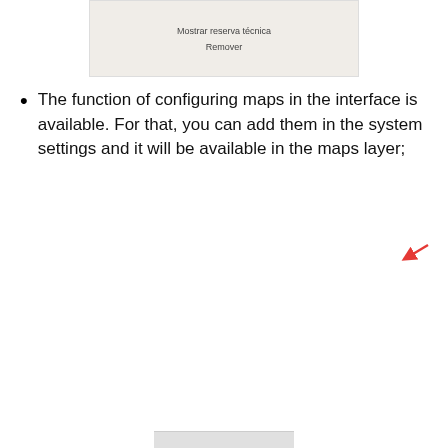[Figure (screenshot): Screenshot of a dropdown menu showing options 'Mostrar reserva técnica' and 'Remover']
The function of configuring maps in the interface is available. For that, you can add them in the system settings and it will be available in the maps layer;
[Figure (screenshot): Screenshot of a 'Mapas' configuration panel with columns 'Nomes' and 'URL', showing map entries with a blue header bar, a red arrow pointing to a + button, and a cookie consent overlay dialog. The cookie dialog reads: 'Utilizamos cookies para oferecer melhor experiência, melhorar o desempenho, analisar como você interage em nosso site e personalizar conteúdo.' with buttons 'Recusar Cookies' and 'Aceitar Cookies'.]